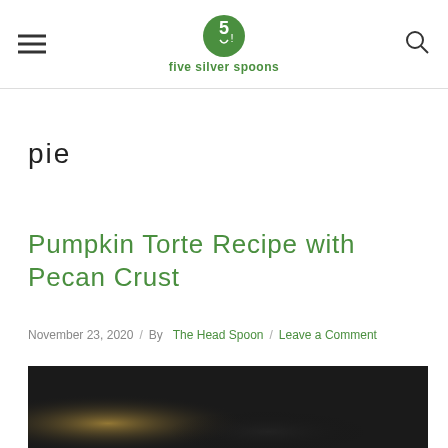five silver spoons
pie
Pumpkin Torte Recipe with Pecan Crust
November 23, 2020 / By The Head Spoon / Leave a Comment
[Figure (photo): Dark background with a blurry warm light — food photography scene, very dark.]